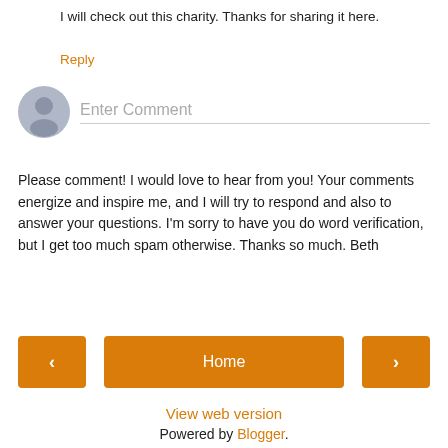I will check out this charity. Thanks for sharing it here.
Reply
[Figure (other): User avatar placeholder icon (grey silhouette) with 'Enter Comment' input field below]
Please comment! I would love to hear from you! Your comments energize and inspire me, and I will try to respond and also to answer your questions. I'm sorry to have you do word verification, but I get too much spam otherwise. Thanks so much. Beth
< Home >
View web version
Powered by Blogger.